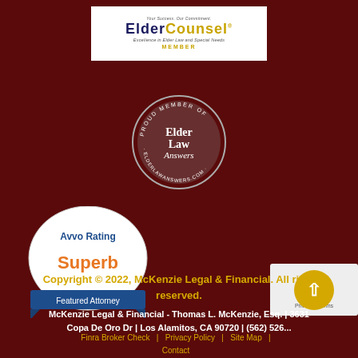[Figure (logo): ElderCounsel logo badge - white rectangle with dark blue and gold text reading ELDERCOUNSEL, Excellence in Elder Law and Special Needs, MEMBER]
[Figure (logo): Circular badge reading PROUD MEMBER OF ELDERLAWANSWERS.COM with Elder Law Answers text in center]
[Figure (logo): Avvo Rating Superb badge - white oval with blue ribbon at bottom reading Featured Attorney]
Copyright © 2022, McKenzie Legal & Financial. All rights reserved.
McKenzie Legal & Financial - Thomas L. McKenzie, Esq. | 3631 Copa De Oro Dr | Los Alamitos, CA 90720 | (562) 526-...
Finra Broker Check | Privacy Policy | Site Map | Contact